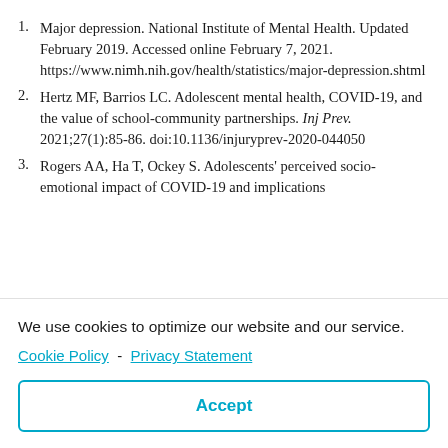1. Major depression. National Institute of Mental Health. Updated February 2019. Accessed online February 7, 2021. https://www.nimh.nih.gov/health/statistics/major-depression.shtml
2. Hertz MF, Barrios LC. Adolescent mental health, COVID-19, and the value of school-community partnerships. Inj Prev. 2021;27(1):85-86. doi:10.1136/injuryprev-2020-044050
3. Rogers AA, Ha T, Ockey S. Adolescents' perceived socio-emotional impact of COVID-19 and implications
We use cookies to optimize our website and our service.
Cookie Policy - Privacy Statement
Accept
correlates among 346,217 college students during